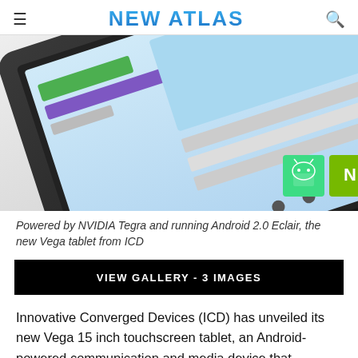NEW ATLAS
[Figure (photo): A tablet device (ICD Vega) shown at an angle with its screen partially visible, with Android and NVIDIA logo icons overlaid in the bottom right corner]
Powered by NVIDIA Tegra and running Android 2.0 Eclair, the new Vega tablet from ICD
VIEW GALLERY - 3 IMAGES
Innovative Converged Devices (ICD) has unveiled its new Vega 15 inch touchscreen tablet, an Android-powered communication and media device that features wireless 802.11b/g, Bluetooth and 3G connectivity, a Tegra combined application and graphics processor from NVIDIA, an ambient light